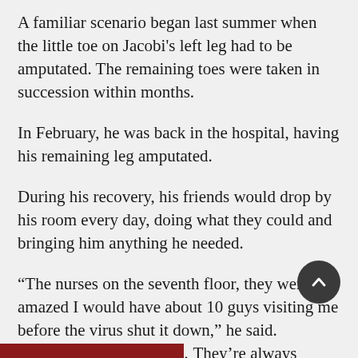A familiar scenario began last summer when the little toe on Jacobi's left leg had to be amputated. The remaining toes were taken in succession within months.
In February, he was back in the hospital, having his remaining leg amputated.
During his recovery, his friends would drop by his room every day, doing what they could and bringing him anything he needed.
“The nurses on the seventh floor, they were amazed I would have about 10 guys visiting me before the virus shut it down,” he said. “They’re great buddies… They’re always there to help you. And I’m the same way – I’ll do anything I